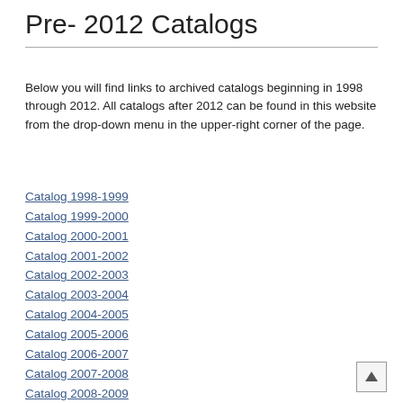Pre- 2012 Catalogs
Below you will find links to archived catalogs beginning in 1998 through 2012. All catalogs after 2012 can be found in this website from the drop-down menu in the upper-right corner of the page.
Catalog 1998-1999
Catalog 1999-2000
Catalog 2000-2001
Catalog 2001-2002
Catalog 2002-2003
Catalog 2003-2004
Catalog 2004-2005
Catalog 2005-2006
Catalog 2006-2007
Catalog 2007-2008
Catalog 2008-2009
Catalog 2009-2010
Catalog 2010-2011